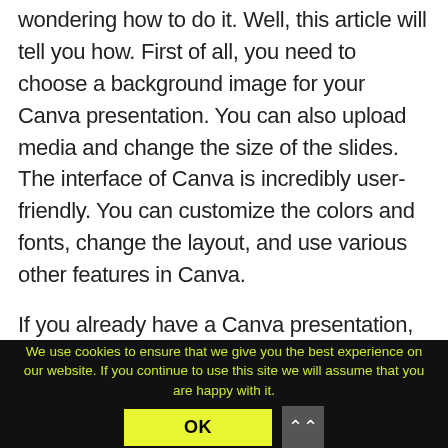wondering how to do it. Well, this article will tell you how. First of all, you need to choose a background image for your Canva presentation. You can also upload media and change the size of the slides. The interface of Canva is incredibly user-friendly. You can customize the colors and fonts, change the layout, and use various other features in Canva.
If you already have a Canva presentation, you can import it into Google Slides. Just make sure you link your Canva account to Google Drive first. Once you have done that, you'll have an editable Google Slides presentation in minutes. However if you
We use cookies to ensure that we give you the best experience on our website. If you continue to use this site we will assume that you are happy with it.